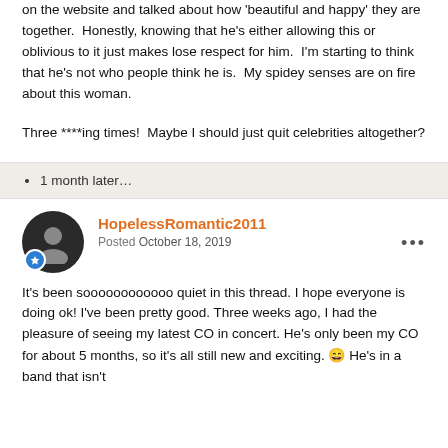on the website and talked about how 'beautiful and happy' they are together.  Honestly, knowing that he's either allowing this or oblivious to it just makes lose respect for him.  I'm starting to think that he's not who people think he is.  My spidey senses are on fire about this woman.
Three ****ing times!  Maybe I should just quit celebrities altogether?
1 month later…
HopelessRomantic2011
Posted October 18, 2019
It's been soooooooooooo quiet in this thread. I hope everyone is doing ok! I've been pretty good. Three weeks ago, I had the pleasure of seeing my latest CO in concert. He's only been my CO for about 5 months, so it's all still new and exciting. 😄 He's in a band that isn't